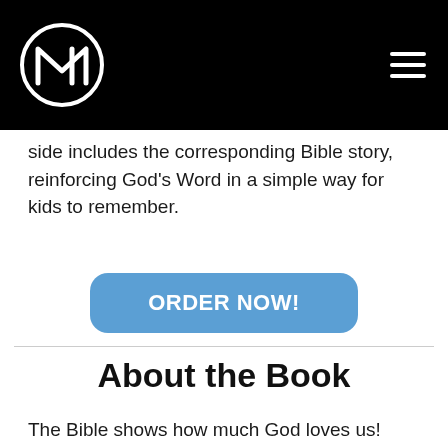[Figure (logo): Circular logo with M and I letters inside, black and white]
side includes the corresponding Bible story, reinforcing God's Word in a simple way for kids to remember.
ORDER NOW!
About the Book
The Bible shows how much God loves us! That's the theme